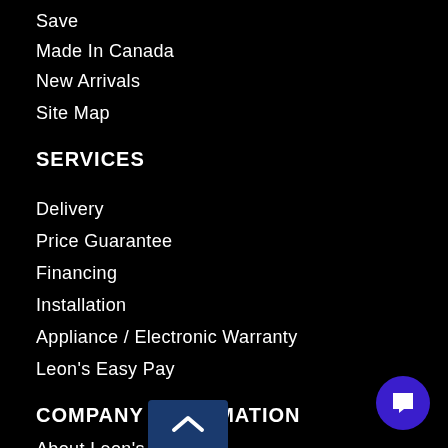Save
Made In Canada
New Arrivals
Site Map
SERVICES
Delivery
Price Guarantee
Financing
Installation
Appliance / Electronic Warranty
Leon's Easy Pay
COMPANY INFORMATION
About Leon's